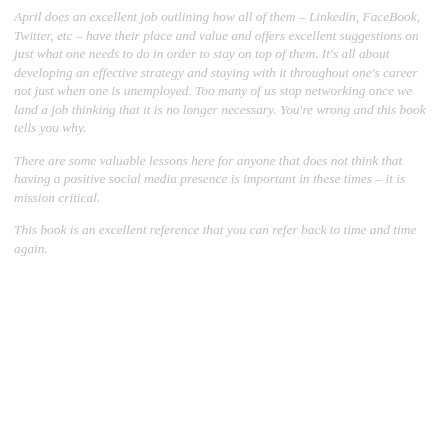April does an excellent job outlining how all of them – Linkedin, FaceBook, Twitter, etc – have their place and value and offers excellent suggestions on just what one needs to do in order to stay on top of them. It's all about developing an effective strategy and staying with it throughout one's career not just when one is unemployed. Too many of us stop networking once we land a job thinking that it is no longer necessary. You're wrong and this book tells you why.
There are some valuable lessons here for anyone that does not think that having a positive social media presence is important in these times – it is mission critical.
This book is an excellent reference that you can refer back to time and time again.